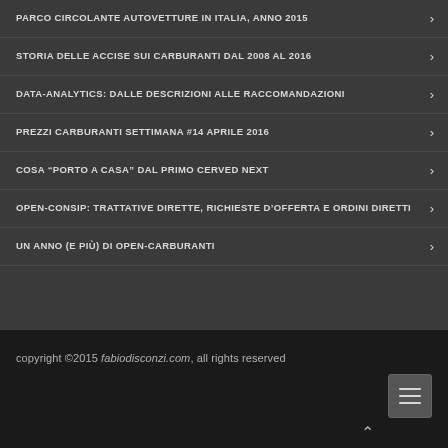PARCO CIRCOLANTE AUTOVETTURE IN ITALIA, ANNO 2015
STORIA DELLE ACCISE SUI CARBURANTI DAL 2008 AL 2016
DATA-ANALYTICS: DALLE DESCRIZIONI ALLE RACCOMANDAZIONI
PREZZI CARBURANTI SETTIMANA #14 APRILE 2016
COSA “PORTO A CASA” DAL PRIMO CERVED NEXT
OPEN-CONSIP: TRATTATIVE DIRETTE, RICHIESTE D’OFFERTA E ORDINI DIRETTI
UN ANNO (E PIÙ) DI OPEN-CARBURANTI
copyright ©2015 fabiodisconzi.com, all rights reserved